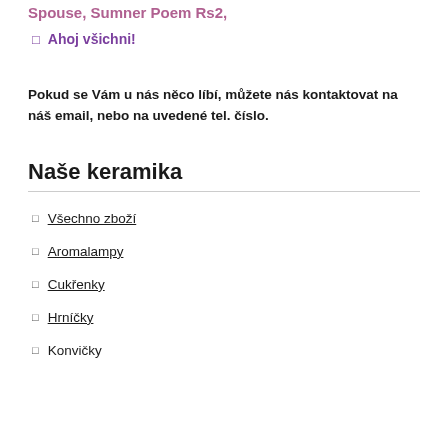Spouse, Sumner Poem Rs2,
Ahoj všichni!
Pokud se Vám u nás něco líbí, můžete nás kontaktovat na náš email, nebo na uvedené tel. číslo.
Naše keramika
Všechno zboží
Aromalampy
Cukřenky
Hrníčky
Konvičky